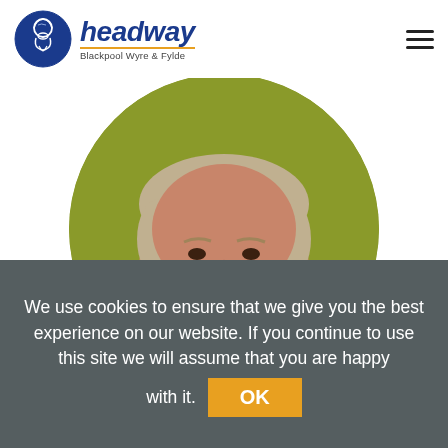[Figure (logo): Headway Blackpool Wyre & Fylde logo with circular blue icon and italic navy text]
[Figure (photo): Circular cropped headshot photo of a middle-aged man with grey-blond hair and beard, smiling, against an olive/green background]
We use cookies to ensure that we give you the best experience on our website. If you continue to use this site we will assume that you are happy with it.
OK